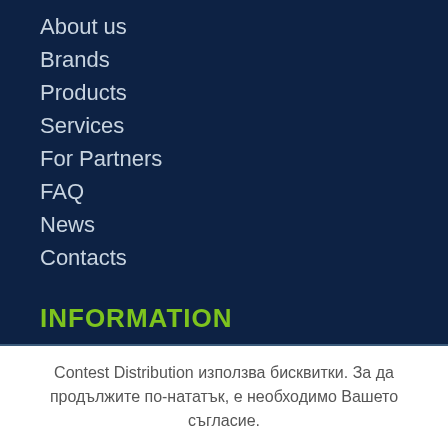About us
Brands
Products
Services
For Partners
FAQ
News
Contacts
INFORMATION
Contest Distribution използва бисквитки. За да продължите по-нататък, е необходимо Вашето съгласие.
Details
I ACCEPT